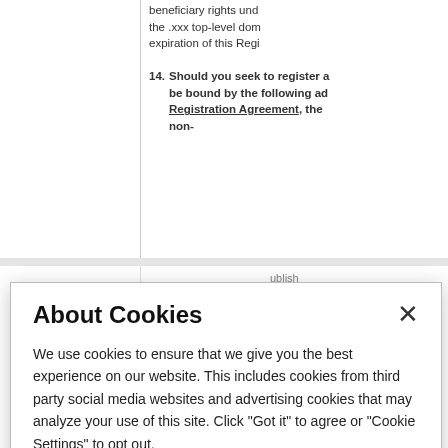beneficiary rights under the .xxx top-level domain expiration of this Registration Agreement
14. Should you seek to register a domain, you will be bound by the following additional Registration Agreement, the non-
blish d agr any c roted requi cable ty, ci d em ed ac regis e dur d agr othe on a
About Cookies
We use cookies to ensure that we give you the best experience on our website. This includes cookies from third party social media websites and advertising cookies that may analyze your use of this site. Click "Got it" to agree or "Cookie Settings" to opt out.
Cookie Notice
Got It
Cookies Settings